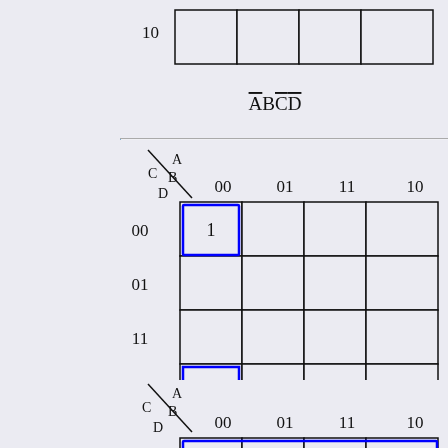[Figure (other): Partial Karnaugh map (top) with label ABCD-bar showing bottom row, partial view]
ĀBCD̄
[Figure (other): Karnaugh map 4x4 with variables A,B on top (CD cols: 00,01,11,10) and C,D on side (rows: 00,01,11,10). Cell (row 00, col 00) = 1, cell (row 10, col 00) = 1. Blue brackets highlight those two cells vertically.]
ĀB̄D̄
[Figure (other): Partial Karnaugh map (bottom) showing row 00 with all four cells = 1, highlighted with blue bracket across all four.]